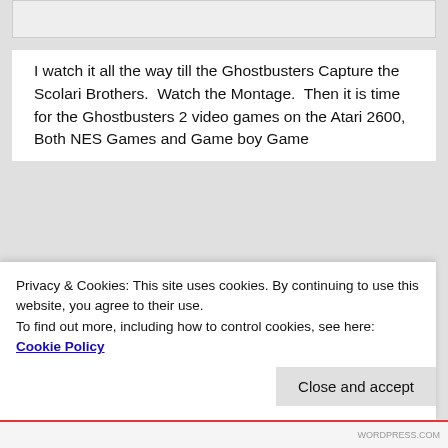[Figure (screenshot): Top portion of a screenshot or image, partially cropped at the top of the page]
I watch it all the way till the Ghostbusters Capture the Scolari Brothers.  Watch the Montage.  Then it is time for the Ghostbusters 2 video games on the Atari 2600, Both NES Games and Game boy Game
[Figure (screenshot): Screenshot of a Ghostbusters 2 video game on Atari 2600, showing a pixel-art game scene with a character hanging from a rope against a black background with green borders, and a gray platform area at the bottom with colored blocks]
Privacy & Cookies: This site uses cookies. By continuing to use this website, you agree to their use.
To find out more, including how to control cookies, see here: Cookie Policy
Close and accept